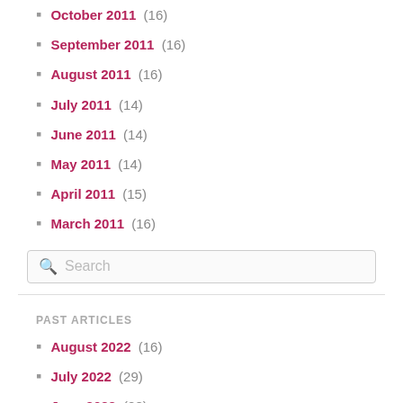October 2011 (16)
September 2011 (16)
August 2011 (16)
July 2011 (14)
June 2011 (14)
May 2011 (14)
April 2011 (15)
March 2011 (16)
Search
PAST ARTICLES
August 2022 (16)
July 2022 (29)
June 2022 (28)
May 2022 (29)
April 2022 (25)
March 2022 (29)
February 2022 (27)